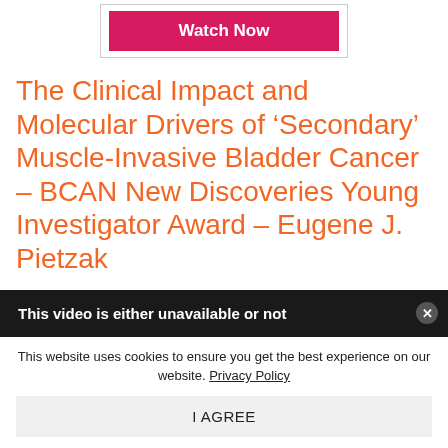[Figure (screenshot): Watch Now button inside a bordered box with crimson/pink background]
The Clinical Impact and Molecular Drivers of ‘Secondary’ Muscle-Invasive Bladder Cancer – BCAN New Discoveries Young Investigator Award – Eugene J. Pietzak
[Figure (screenshot): Dark video player error bar with text: This video is either unavailable or not, and a close button]
This website uses cookies to ensure you get the best experience on our website. Privacy Policy
I AGREE